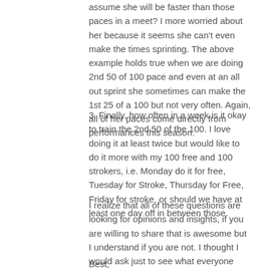assume she will be faster than those paces in a meet? I more worried about her because it seems she can't even make the times sprinting. The above example holds true when we are doing 2nd 50 of 100 pace and even at an all out sprint she sometimes can make the 1st 25 of a 100 but not very often. Again, all of her paces come directly from performances this season.
3. Finally, how often in a week is it okay to train the 2nd 50 of the 100. I love doing it at least twice but would like to do it more with my 100 free and 100 strokers, i.e. Monday do it for free, Tuesday for Stroke, Thursday for Free, Friday for stroke, or should we have at least one day off in between those.
I realize that all of these questions are looking for opinions and insights, if you are willing to share that is awesome but I understand if you are not. I thought I would ask just to see what everyone thinks. Okay gotta run to practice, thanks for any help.
Best,